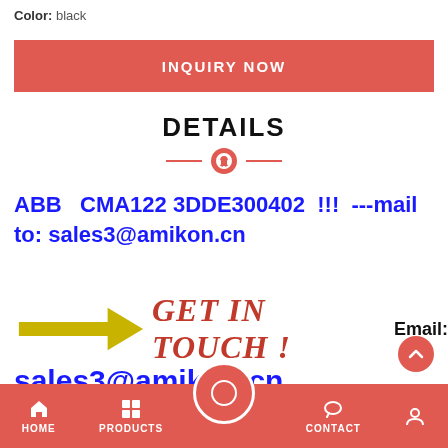Color: black
INQUIRY NOW
DETAILS
ABB   CMA122 3DDE300402  !!!  ---mail to: sales3@amikon.cn
[Figure (infographic): Yellow arrow pointing right with red italic text 'GET IN TOUCH !' and bold black 'Email:' label]
sales3@amikon.cn
HOME   PRODUCTS   CONTACT